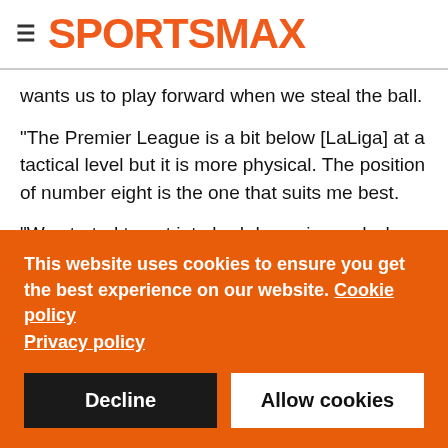SPORTSMAX
wants us to play forward when we steal the ball.
"The Premier League is a bit below [LaLiga] at a tactical level but it is more physical. The position of number eight is the one that suits me best.
"We started to get into bad dynamics and when a team has a priority to fight for Europe it is difficult to get out. We have chained three victories together and hopefully we will go up [the table]."
This website uses cookies to ensure you get the best experience on our website. Cookie policy
Privacy policy
Decline  Allow cookies